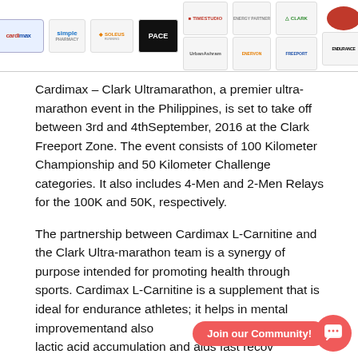[Figure (logo): Row of sponsor logos including Cardimax, Simple, Soleus, PACE, Timestudio, Urban Ashram, Clark, and Endurance brand logos]
Cardimax – Clark Ultramarathon, a premier ultra-marathon event in the Philippines, is set to take off between 3rd and 4thSeptember, 2016 at the Clark Freeport Zone. The event consists of 100 Kilometer Championship and 50 Kilometer Challenge categories. It also includes 4-Men and 2-Men Relays for the 100K and 50K, respectively.
The partnership between Cardimax L-Carnitine and the Clark Ultra-marathon team is a synergy of purpose intended for promoting health through sports. Cardimax L-Carnitine is a supplement that is ideal for endurance athletes; it helps in mental improvementand also reduces lactic acid accumulation and aids fast recovery.